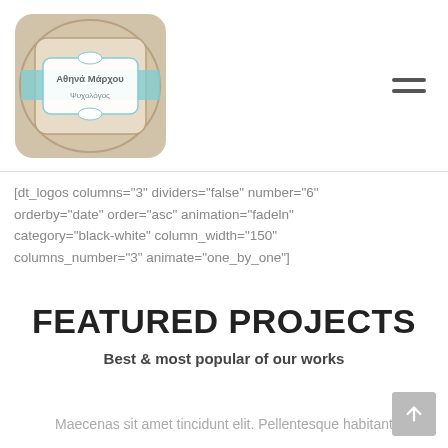[Figure (logo): Decorative logo badge with Greek text 'Αθηνά Μάρχου Ψυχολόγος' in a floral/lace ornamental frame with light blue ribbon accent]
[dt_logos columns="3" dividers="false" number="6" orderby="date" order="asc" animation="fadeln" category="black-white" column_width="150" columns_number="3" animate="one_by_one"]
FEATURED PROJECTS
Best & most popular of our works
Maecenas sit amet tincidunt elit. Pellentesque habitant